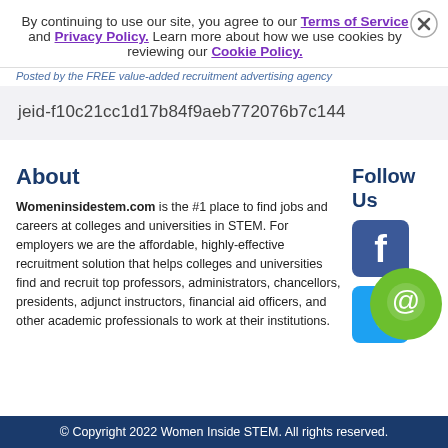By continuing to use our site, you agree to our Terms of Service and Privacy Policy. Learn more about how we use cookies by reviewing our Cookie Policy.
Posted by the FREE value-added recruitment advertising agency
jeid-f10c21cc1d17b84f9aeb772076b7c144
About
Womeninsidestem.com is the #1 place to find jobs and careers at colleges and universities in STEM. For employers we are the affordable, highly-effective recruitment solution that helps colleges and universities find and recruit top professors, administrators, chancellors, presidents, adjunct instructors, financial aid officers, and other academic professionals to work at their institutions.
Follow Us
[Figure (logo): Facebook social media icon button]
[Figure (logo): Twitter social media icon button]
[Figure (logo): Green chat bubble icon]
© Copyright 2022 Women Inside STEM. All rights reserved.